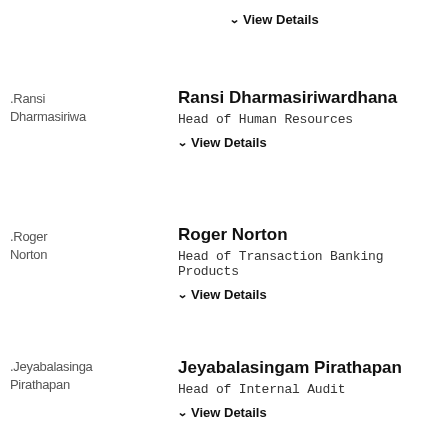View Details
[Figure (photo): Avatar placeholder showing text: Ransi Dharmasiwa]
Ransi Dharmasiriwardhana
Head of Human Resources
View Details
[Figure (photo): Avatar placeholder showing text: Roger Norton]
Roger Norton
Head of Transaction Banking Products
View Details
[Figure (photo): Avatar placeholder showing text: Jeyabalasinga Pirathapan]
Jeyabalasingam Pirathapan
Head of Internal Audit
View Details